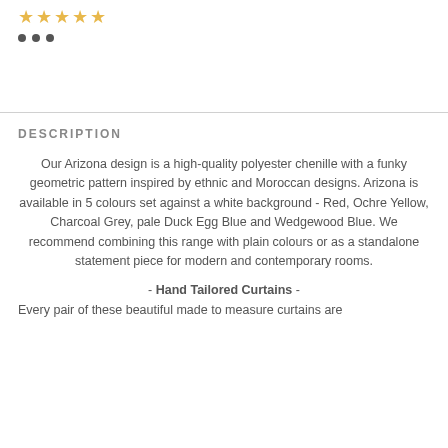[Figure (other): Five gold star rating icons]
• • •  (three navigation dots)
DESCRIPTION
Our Arizona design is a high-quality polyester chenille with a funky geometric pattern inspired by ethnic and Moroccan designs. Arizona is available in 5 colours set against a white background - Red, Ochre Yellow, Charcoal Grey, pale Duck Egg Blue and Wedgewood Blue. We recommend combining this range with plain colours or as a standalone statement piece for modern and contemporary rooms.
- Hand Tailored Curtains -
Every pair of these beautiful made to measure curtains are